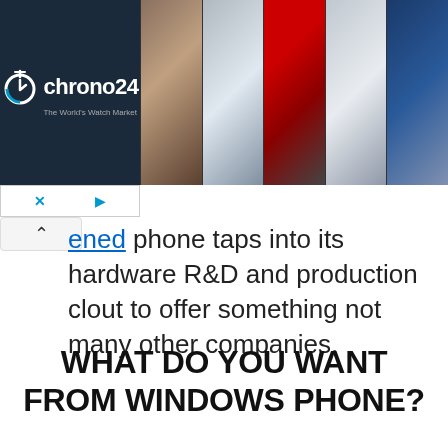[Figure (screenshot): Chrono24 watch marketplace advertisement banner showing logo on dark blue background with 5 watch photos]
ened phone taps into its hardware R&D and production clout to offer something not many other companies.
WHAT DO YOU WANT FROM WINDOWS PHONE?